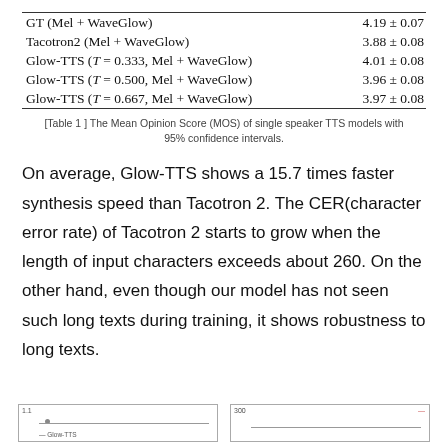| Model | MOS |
| --- | --- |
| GT (Mel + WaveGlow) | 4.19 ± 0.07 |
| Tacotron2 (Mel + WaveGlow) | 3.88 ± 0.08 |
| Glow-TTS (T = 0.333, Mel + WaveGlow) | 4.01 ± 0.08 |
| Glow-TTS (T = 0.500, Mel + WaveGlow) | 3.96 ± 0.08 |
| Glow-TTS (T = 0.667, Mel + WaveGlow) | 3.97 ± 0.08 |
[Table 1 ] The Mean Opinion Score (MOS) of single speaker TTS models with 95% confidence intervals.
On average, Glow-TTS shows a 15.7 times faster synthesis speed than Tacotron 2. The CER(character error rate) of Tacotron 2 starts to grow when the length of input characters exceeds about 260. On the other hand, even though our model has not seen such long texts during training, it shows robustness to long texts.
[Figure (continuous-plot): Left figure: a line chart (partially visible at bottom of page), with a small dot and legend label referencing Glow-TTS.]
[Figure (continuous-plot): Right figure: a line chart (partially visible at bottom of page), with an orange/red legend line in the top right corner.]